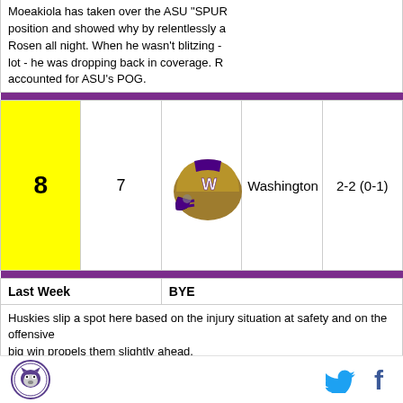Moeakiola has taken over the ASU "SPUR" position and showed why by relentlessly after Rosen all night. When he wasn't blitzing - a lot - he was dropping back in coverage. Really accounted for ASU's POG.
| Rank | Chg | Logo | Team | Record |
| --- | --- | --- | --- | --- |
| 8 | 7 | [Washington Huskies helmet] | Washington | 2-2 (0-1) |
Last Week	BYE
Huskies slip a spot here based on the injury situation at safety and on the offensive... big win propels them slightly ahead.
Week 5 POG:	n/a